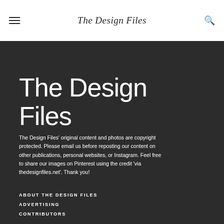The Design Files
The Design Files
The Design Files' original content and photos are copyright protected. Please email us before reposting our content on other publications, personal websites, or Instagram. Feel free to share our images on Pinterest using the credit 'via thedesignfiles.net'. Thank you!
ABOUT THE DESIGN FILES
ADVERTISING
CONTRIBUTORS